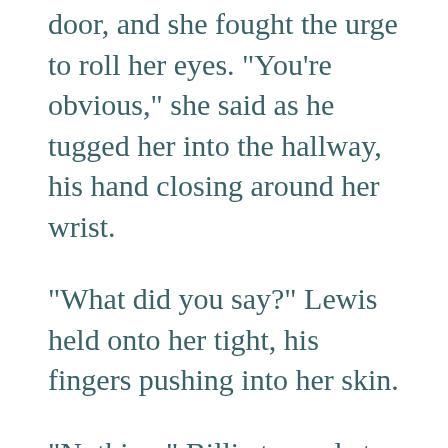door, and she fought the urge to roll her eyes. "You're obvious," she said as he tugged her into the hallway, his hand closing around her wrist.
"What did you say?" Lewis held onto her tight, his fingers pushing into her skin.
"Nothing." Billie tugged at her wrist but he kept holding. "Get off."
"They're coming. Mrs. Hammond called the Bradys." Lewis was looking at her with